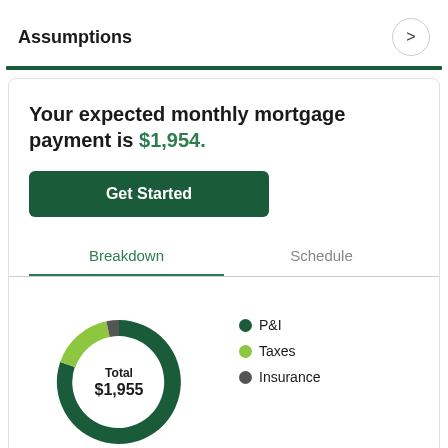Assumptions
Your expected monthly mortgage payment is $1,954.
Get Started
Breakdown
Schedule
[Figure (donut-chart): Monthly Mortgage Breakdown]